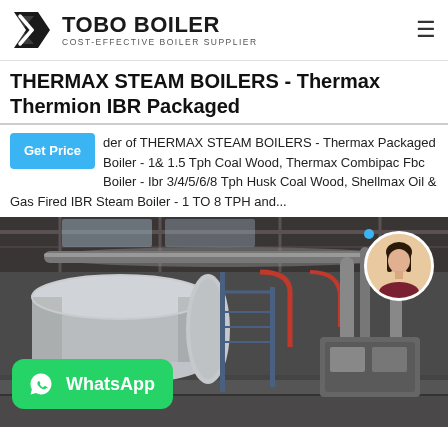[Figure (logo): TOBO BOILER logo with black angular icon and text 'COST-EFFECTIVE BOILER SUPPLIER']
THERMAX STEAM BOILERS - Thermax Thermion IBR Packaged
der of THERMAX STEAM BOILERS - Thermax Packaged Boiler - 1& 1.5 Tph Coal Wood, Thermax Combipac Fbc Boiler - Ibr 3/4/5/6/8 Tph Husk Coal Wood, Shellmax Oil & Gas Fired IBR Steam Boiler - 1 TO 8 TPH and...
[Figure (photo): Industrial boiler room interior with large cylindrical steam boiler, pipes, and metal walkways with WhatsApp button overlay and female avatar in circle]